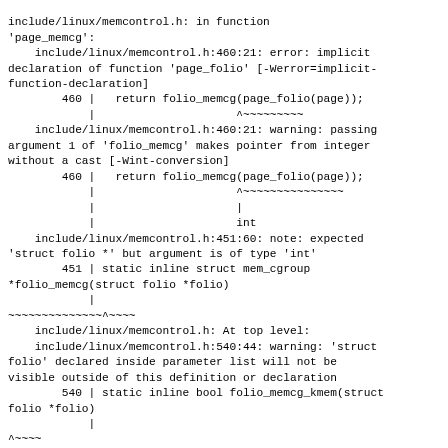include/linux/memcontrol.h: in function 'page_memcg':
    include/linux/memcontrol.h:460:21: error: implicit declaration of function 'page_folio' [-Werror=implicit-function-declaration]
        460 |   return folio_memcg(page_folio(page));
            |                     ^~~~~~~~~~
    include/linux/memcontrol.h:460:21: warning: passing argument 1 of 'folio_memcg' makes pointer from integer without a cast [-Wint-conversion]
        460 |   return folio_memcg(page_folio(page));
            |                     ^~~~~~~~~~~~~~~~
            |                     |
            |                     int
    include/linux/memcontrol.h:451:60: note: expected 'struct folio *' but argument is of type 'int'
        451 | static inline struct mem_cgroup *folio_memcg(struct folio *folio)
            |
~~~~~~~~~~~~~~^~~~~
    include/linux/memcontrol.h: At top level:
    include/linux/memcontrol.h:540:44: warning: 'struct folio' declared inside parameter list will not be visible outside of this definition or declaration
        540 | static inline bool folio_memcg_kmem(struct folio *folio)
            |
^~~~~
    include/linux/memcontrol.h:540:20: error: conflicting types for 'folio_memcg_kmem'
        540 | static inline bool folio_memcg_kmem(struct